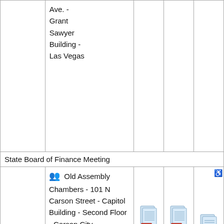|  |  |  |  |  |
| --- | --- | --- | --- | --- |
|  | Ave. - Grant Sawyer Building - Las Vegas |  |  |  |
| State Board of Finance Meeting |  |  |  |  |
| --- | --- | --- | --- | --- |
| 03/08/2022 01:00 PM | 👥 Old Assembly Chambers - 101 N Carson Street - Capitol Building - Second Floor - Carson City | [PDF icon] | [PDF icon] | [PDF icon + accessibility] |